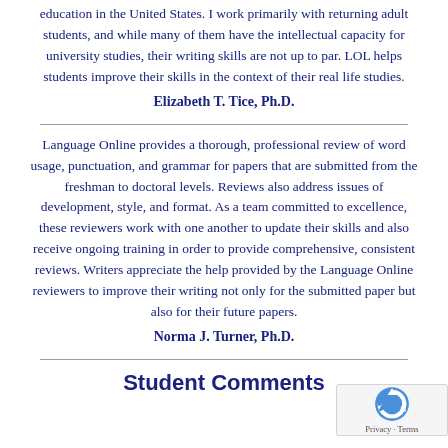education in the United States. I work primarily with returning adult students, and while many of them have the intellectual capacity for university studies, their writing skills are not up to par. LOL helps students improve their skills in the context of their real life studies.
Elizabeth T. Tice, Ph.D.
Language Online provides a thorough, professional review of word usage, punctuation, and grammar for papers that are submitted from the freshman to doctoral levels. Reviews also address issues of development, style, and format. As a team committed to excellence, these reviewers work with one another to update their skills and also receive ongoing training in order to provide comprehensive, consistent reviews. Writers appreciate the help provided by the Language Online reviewers to improve their writing not only for the submitted paper but also for their future papers.
Norma J. Turner, Ph.D.
Student Comments